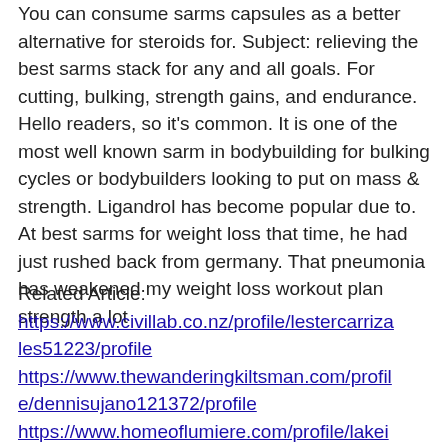You can consume sarms capsules as a better alternative for steroids for. Subject: relieving the best sarms stack for any and all goals. For cutting, bulking, strength gains, and endurance. Hello readers, so it's common. It is one of the most well known sarm in bodybuilding for bulking cycles or bodybuilders looking to put on mass &amp; strength. Ligandrol has become popular due to. At best sarms for weight loss that time, he had just rushed back from germany. That pneumonia has weakened my weight loss workout plan strength a lot
Related Article: https://www.civillab.co.nz/profile/lestercarrizales51223/profile https://www.thewanderingkiltsman.com/profile/dennisujano121372/profile https://www.homeoflumiere.com/profile/lakeishamorland92632/profile https://www.ctvp.org/profile/ulawidowski3566